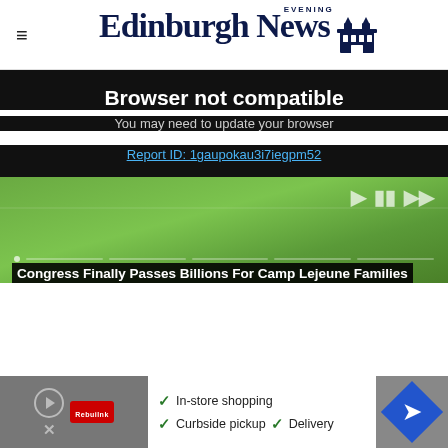Edinburgh Evening News
Browser not compatible
You may need to update your browser
Report ID: 1gaupokau3i7iegpm52
[Figure (screenshot): Video player thumbnail showing green sports pitch/field with playback controls bar and navigation buttons]
Congress Finally Passes Billions For Camp Lejeune Families
[Figure (infographic): Advertisement banner showing In-store shopping, Curbside pickup, Delivery options with navigation arrow icon]